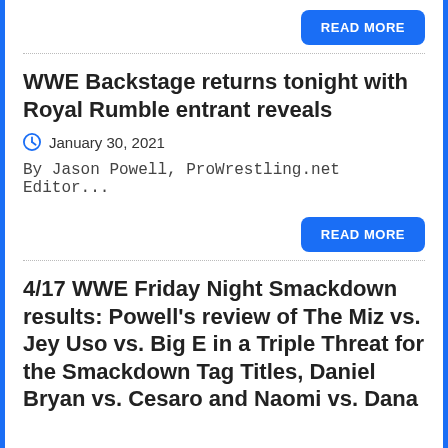READ MORE
WWE Backstage returns tonight with Royal Rumble entrant reveals
January 30, 2021
By Jason Powell, ProWrestling.net Editor...
READ MORE
4/17 WWE Friday Night Smackdown results: Powell's review of The Miz vs. Jey Uso vs. Big E in a Triple Threat for the Smackdown Tag Titles, Daniel Bryan vs. Cesaro and Naomi vs. Dana